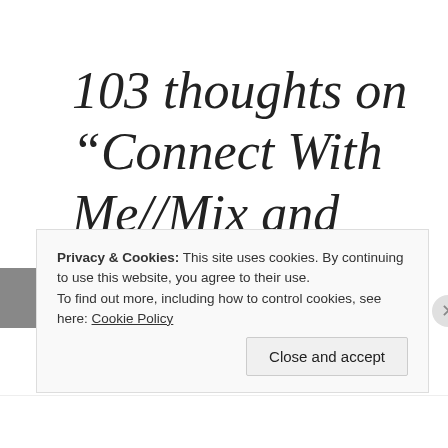103 thoughts on “Connect With Me//Mix and Mingle”
Privacy & Cookies: This site uses cookies. By continuing to use this website, you agree to their use. To find out more, including how to control cookies, see here: Cookie Policy
Close and accept